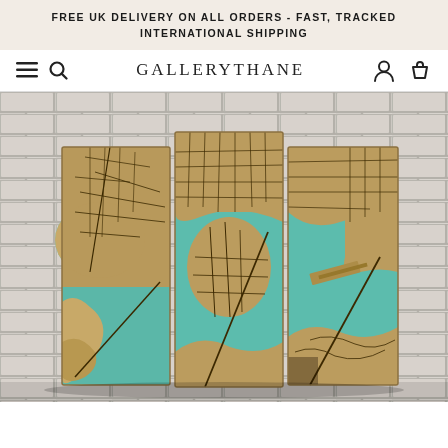FREE UK DELIVERY ON ALL ORDERS - FAST, TRACKED INTERNATIONAL SHIPPING
GALLERYTHANE
[Figure (photo): A triptych of vintage-style city map canvas prints displayed on a white brick wall. The three panels together show a coastal city map with turquoise/teal water and aged golden-brown land areas with dark street lines, in an antique map aesthetic.]